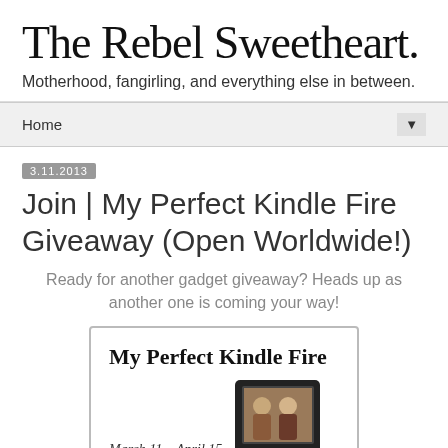The Rebel Sweetheart.
Motherhood, fangirling, and everything else in between.
Home ▼
3.11.2013
Join | My Perfect Kindle Fire Giveaway (Open Worldwide!)
Ready for another gadget giveaway? Heads up as another one is coming your way!
[Figure (illustration): Promotional image for 'My Perfect Kindle Fire' giveaway, March 11 – April 15, showing a Kindle Fire device with a photo on screen.]